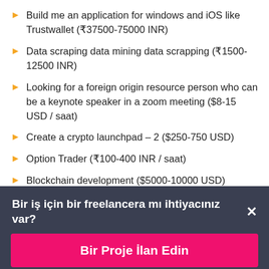Build me an application for windows and iOS like Trustwallet (₹37500-75000 INR)
Data scraping data mining data scrapping (₹1500-12500 INR)
Looking for a foreign origin resource person who can be a keynote speaker in a zoom meeting ($8-15 USD / saat)
Create a crypto launchpad – 2 ($250-750 USD)
Option Trader (₹100-400 INR / saat)
Blockchain development ($5000-10000 USD)
Tradetron Strategy (₹2000-6000 INR)
Bir iş için bir freelancera mı ihtiyacınız var?
Bir Proje İlan Edin